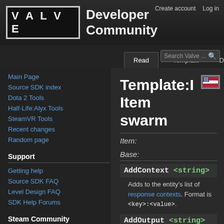VALVE Developer Community — Create account  Log in
Template:I Item swarm
Item:
Base:
AddContext <string>
Adds to the entity's list of response contexts. Format is <key>:<value>.
AddOutput <string>
Assigns a new keyvalue/output on this entity. For keyvalues, some rely on extra necessary code to be ran and won't work if its simply just changed through this